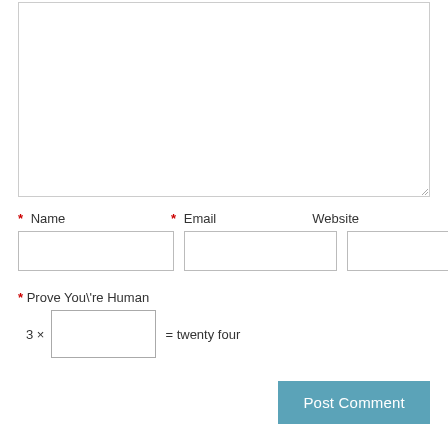[Figure (screenshot): Textarea input box (comment text area), empty, with resize handle in bottom-right corner]
* Name
* Email
Website
[Figure (screenshot): Three form input fields: Name, Email, Website — empty text input boxes side by side]
* Prove You\'re Human
3 × [input box] = twenty four
Post Comment